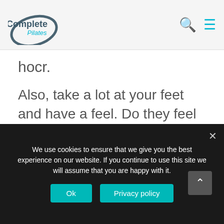Complete Pilates
hocr.
Also, take a lot at your feet and have a feel. Do they feel sore to touch on both the top and bottom? Have you got any ingrown toenails or lots of dry skin? Have you got any verrucas? Do your toes relatively straight or do they claw?
Problems in your feet can have a disastrous effect on the alignment of the whole body. This
We use cookies to ensure that we give you the best experience on our website. If you continue to use this site we will assume that you are happy with it.